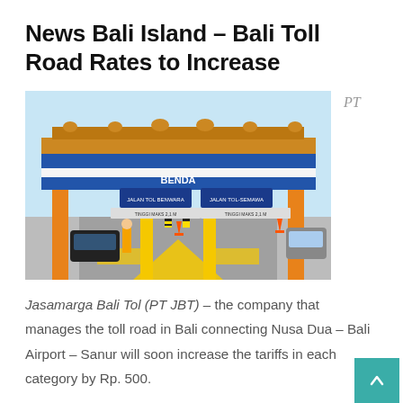News Bali Island – Bali Toll Road Rates to Increase
[Figure (photo): Bali Mandara toll road gate/booth with ornate Balinese architecture on top, blue signage, yellow pillars, cars at toll lanes, traffic cones visible]
PT
Jasamarga Bali Tol (PT JBT) – the company that manages the toll road in Bali connecting Nusa Dua – Bali Airport – Sanur will soon increase the tariffs in each category by Rp. 500.
As reported by NusaBali.com, the date for the